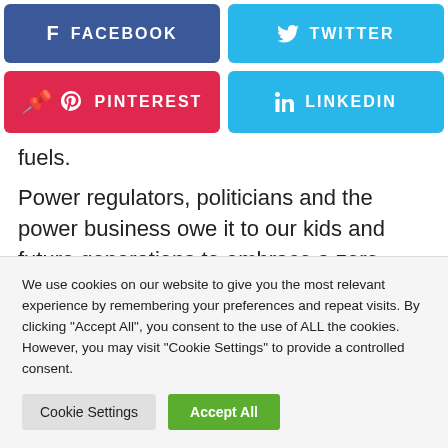[Figure (infographic): Social sharing buttons: Facebook (dark blue), Twitter (light blue), Pinterest (red), LinkedIn (light blue), arranged in a 2x2 grid]
fuels.
Power regulators, politicians and the power business owe it to our kids and future generations to embrace a zero-emissions power system. The reform of Australia's electrical energy market will in the end be
We use cookies on our website to give you the most relevant experience by remembering your preferences and repeat visits. By clicking "Accept All", you consent to the use of ALL the cookies. However, you may visit "Cookie Settings" to provide a controlled consent.
Cookie Settings | Accept All